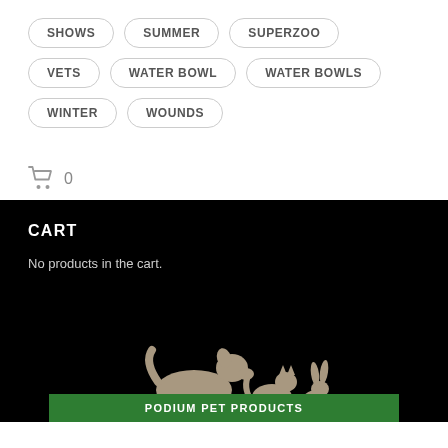SHOWS
SUMMER
SUPERZOO
VETS
WATER BOWL
WATER BOWLS
WINTER
WOUNDS
0
CART
No products in the cart.
[Figure (illustration): Silhouettes of a dog, cat, and rabbit in tan/brown color on black background, above a green banner reading PODIUM PET PRODUCTS]